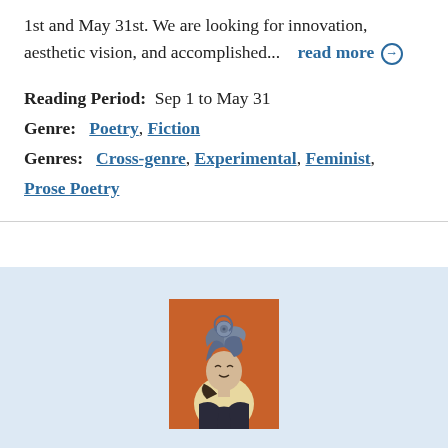1st and May 31st. We are looking for innovation, aesthetic vision, and accomplished...   read more →
Reading Period:  Sep 1 to May 31
Genre:  Poetry, Fiction
Genres:  Cross-genre, Experimental, Feminist, Prose Poetry
[Figure (illustration): A stylized illustration of a person with an elaborate swirled hairstyle, depicted in a figurative art style with orange/rust background]
Post Road